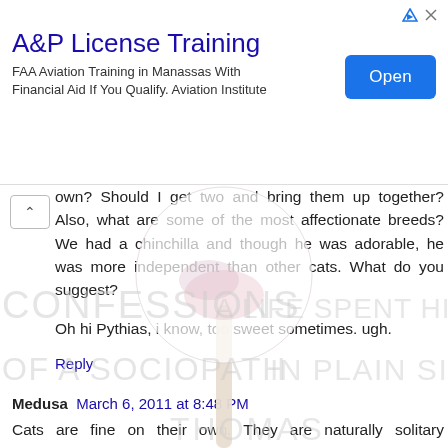[Figure (other): Ad banner for A&P License Training with Open button]
own? Should I get two and bring them up together? Also, what are some of the most affectionate breeds? We had a chinchilla and though he was adorable, he was more independent than other cats. What do you suggest?
Oh hi Pythias, i know, too sweet sometimes. ugh.
Reply
Medusa  March 6, 2011 at 8:48 PM
Cats are fine on their own. They are naturally solitary creatures.
Maine Coon. Best breed I've ever known. Large, fluffy, loyal, smart. Like teddy bears. But they look like lions.
Reply